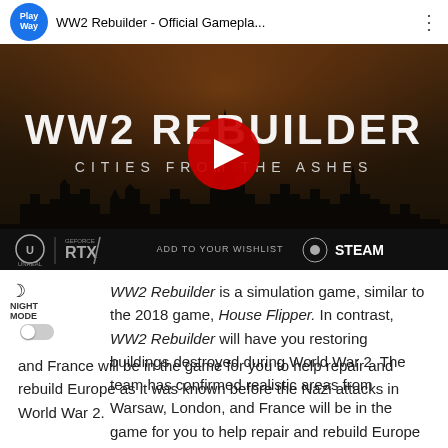[Figure (screenshot): YouTube video thumbnail for 'WW2 Rebuilder - Official Gamepla...' by PlayWay channel. Shows the game title 'WW2 REBUILDER - CITIES FROM THE ASHES' over a dark war-destroyed cityscape background with Unreal Engine, GeForce RTX, and Steam wishlist logos at the bottom. A red YouTube play button is centered on the thumbnail.]
WW2 Rebuilder is a simulation game, similar to the 2018 game, House Flipper. In contrast, WW2 Rebuilder will have you restoring buildings destroyed during World War 2. The team has confirmed realistic areas from Warsaw, London, and France will be in the game for you to help repair and rebuild Europe as it was known before the Nazi attacks in World War 2.